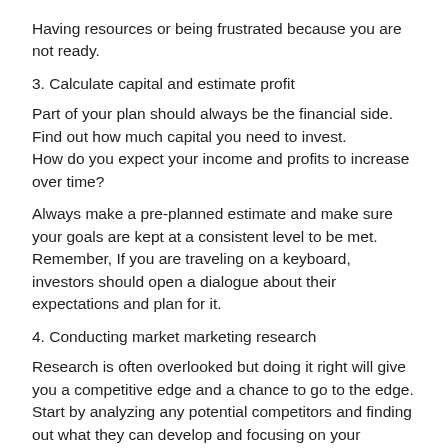Having resources or being frustrated because you are not ready.
3. Calculate capital and estimate profit
Part of your plan should always be the financial side. Find out how much capital you need to invest.
How do you expect your income and profits to increase over time?
Always make a pre-planned estimate and make sure your goals are kept at a consistent level to be met. Remember, If you are traveling on a keyboard, investors should open a dialogue about their expectations and plan for it.
4. Conducting market marketing research
Research is often overlooked but doing it right will give you a competitive edge and a chance to go to the edge. Start by analyzing any potential competitors and finding out what they can develop and focusing on your strengths And their weaknesses. Make it a competitive advantage to your strengths